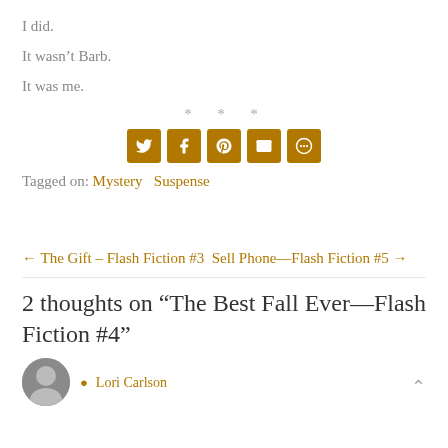I did.
It wasn’t Barb.
It was me.
* * *
[Figure (infographic): Social sharing icons: Twitter, Facebook, Pinterest, Email, More (circles/envelope)]
Tagged on: Mystery   Suspense
← The Gift – Flash Fiction #3   Sell Phone—Flash Fiction #5 →
2 thoughts on “The Best Fall Ever—Flash Fiction #4”
Lori Carlson